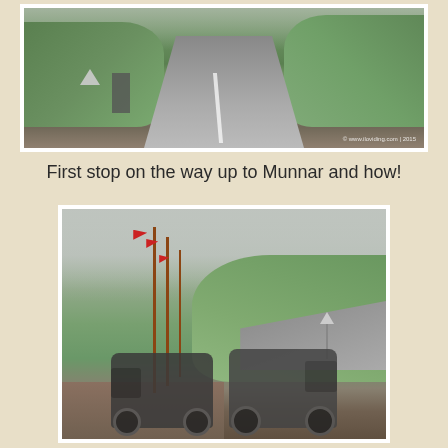[Figure (photo): A winding road through green tea gardens in Munnar, India. Lush green hillsides with tea plants on both sides, a grey asphalt road curving into the distance, misty hills in the background. Watermark reads '© www.iloviding.com | 2015' in the bottom right corner.]
First stop on the way up to Munnar and how!
[Figure (photo): Two motorcycles (Royal Enfields) parked on a dirt area beside a curved road through Munnar tea country. Red flags on tall poles are visible in the foreground left. Lush green tea garden hills and misty sky in the background. A road sign triangle is visible in the middle distance.]